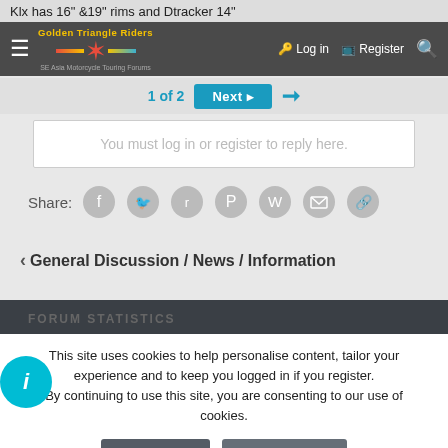Klx has 16" &19" rims and Dtracker 14"
Golden Triangle Riders — SE Asia Motorcycle Touring Forums | Log in | Register
1 of 2  Next
You must log in or register to reply here.
Share:
< General Discussion / News / Information
FORUM STATISTICS
This site uses cookies to help personalise content, tailor your experience and to keep you logged in if you register. By continuing to use this site, you are consenting to our use of cookies.
Accept  Learn more...